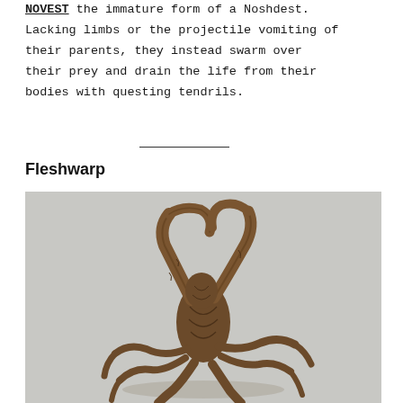NOVEST the immature form of a Noshdest. Lacking limbs or the projectile vomiting of their parents, they instead swarm over their prey and drain the life from their bodies with questing tendrils.
Fleshwarp
[Figure (photo): A dark brown sculpture or figurine of a gaunt, twisted creature with elongated limbs raised above its head, posing on multiple spider-like legs against a gray background.]